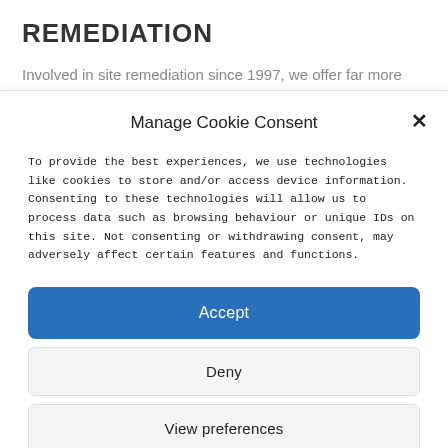REMEDIATION
Involved in site remediation since 1997, we offer far more sophisticated solutions than a standard dig and dump.
Manage Cookie Consent
To provide the best experiences, we use technologies like cookies to store and/or access device information. Consenting to these technologies will allow us to process data such as browsing behaviour or unique IDs on this site. Not consenting or withdrawing consent, may adversely affect certain features and functions.
Accept
Deny
View preferences